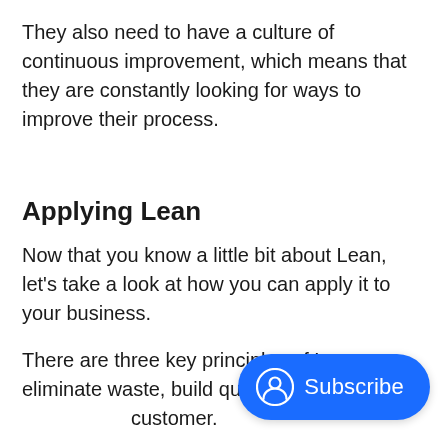They also need to have a culture of continuous improvement, which means that they are constantly looking for ways to improve their process.
Applying Lean
Now that you know a little bit about Lean, let's take a look at how you can apply it to your business.
There are three key principles of Lean: eliminate waste, build quality in, and delive... customer.
[Figure (other): Blue pill-shaped Subscribe button with a user/person circle icon on the left and the text 'Subscribe' in white on the right, positioned in the bottom-right corner of the page.]